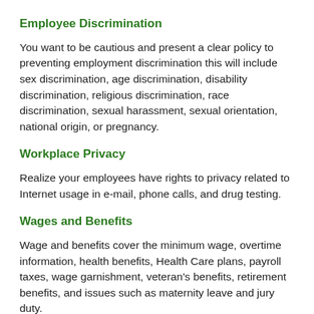Employee Discrimination
You want to be cautious and present a clear policy to preventing employment discrimination this will include sex discrimination, age discrimination, disability discrimination, religious discrimination, race discrimination, sexual harassment, sexual orientation, national origin, or pregnancy.
Workplace Privacy
Realize your employees have rights to privacy related to Internet usage in e-mail, phone calls, and drug testing.
Wages and Benefits
Wage and benefits cover the minimum wage, overtime information, health benefits, Health Care plans, payroll taxes, wage garnishment, veteran's benefits, retirement benefits, and issues such as maternity leave and jury duty.